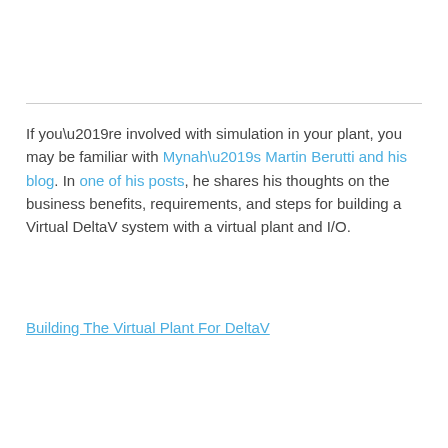If you’re involved with simulation in your plant, you may be familiar with Mynah’s Martin Berutti and his blog. In one of his posts, he shares his thoughts on the business benefits, requirements, and steps for building a Virtual DeltaV system with a virtual plant and I/O.
Building The Virtual Plant For DeltaV